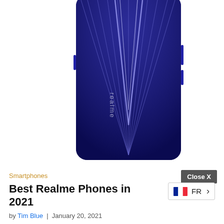[Figure (photo): Back view of a Realme smartphone in blue/dark blue color with radiating V-shaped light pattern and 'realme' branding, shown against a white background.]
Smartphones
Close X
Best Realme Phones in 2021
[Figure (other): French flag icon with FR language selector and right arrow]
by Tim Blue | January 20, 2021